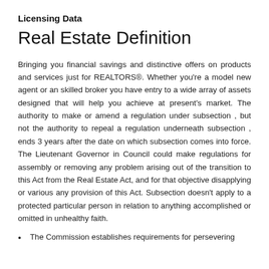Licensing Data
Real Estate Definition
Bringing you financial savings and distinctive offers on products and services just for REALTORS®. Whether you're a model new agent or an skilled broker you have entry to a wide array of assets designed that will help you achieve at present's market. The authority to make or amend a regulation under subsection , but not the authority to repeal a regulation underneath subsection , ends 3 years after the date on which subsection comes into force. The Lieutenant Governor in Council could make regulations for assembly or removing any problem arising out of the transition to this Act from the Real Estate Act, and for that objective disapplying or various any provision of this Act. Subsection doesn't apply to a protected particular person in relation to anything accomplished or omitted in unhealthy faith.
The Commission establishes requirements for persevering